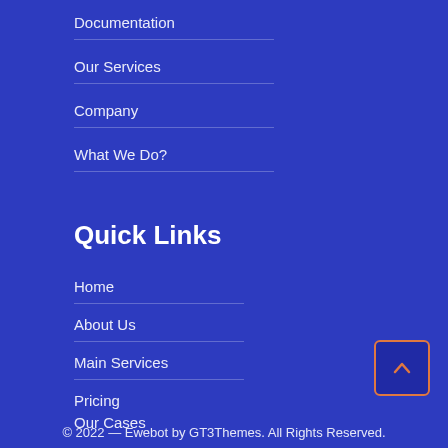Documentation
Our Services
Company
What We Do?
Quick Links
Home
About Us
Main Services
Pricing
Our Cases
[Figure (other): Back to top button with upward chevron, orange border]
© 2022 — Ewebot by GT3Themes. All Rights Reserved.